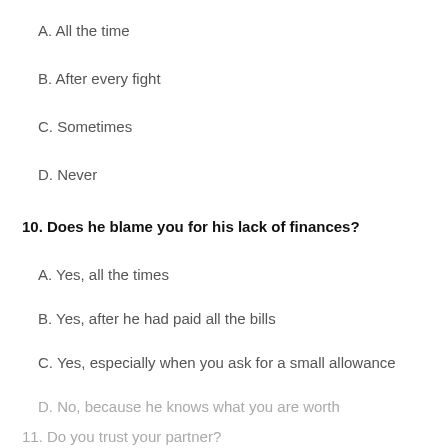A. All the time
B. After every fight
C. Sometimes
D. Never
10. Does he blame you for his lack of finances?
A. Yes, all the times
B. Yes, after he had paid all the bills
C. Yes, especially when you ask for a small allowance
D. No, because he knows what you are worth
11. Do you trust your partner?